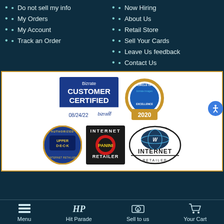Do not sell my info
My Orders
My Account
Track an Order
Now Hiring
About Us
Retail Store
Sell Your Cards
Leave Us feedback
Contact Us
[Figure (logo): Bizrate Customer Certified badge dated 08/24/22, Bizrate Circle of Excellence 2020 badge, Upper Deck Authorized Internet Retailer badge, Panini Internet Retailer badge, Wizard Internet Retailer badge]
Menu | Hit Parade | Sell to us | Your Cart